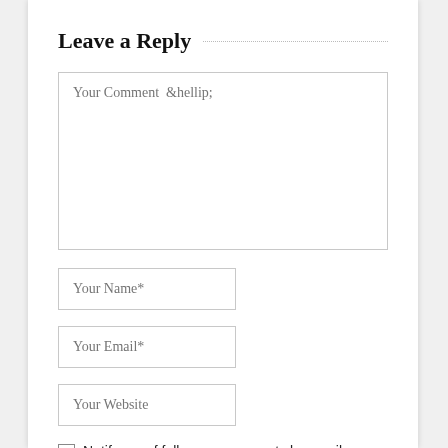Leave a Reply
Your Comment  &hellip;
Your Name*
Your Email*
Your Website
Notify me of follow-up comments by email.